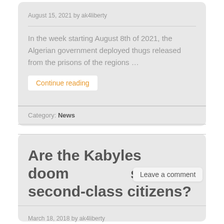August 15, 2021 by ak4liberty
In the week starting August 8th of 2021, the Algerian government deployed thugs released from the prisons of the regions …
Continue reading
Category: News
Are the Kabyles doomed to be second-class citizens?
Leave a comment
March 18, 2018 by ak4liberty